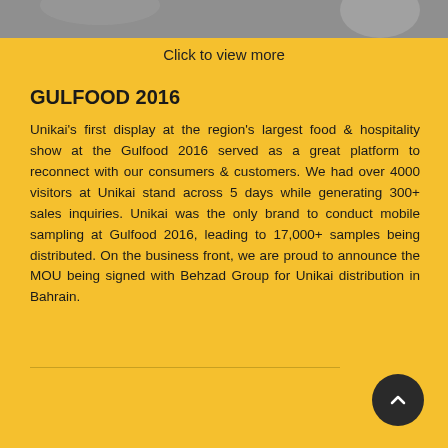[Figure (photo): Top portion of a photo strip showing people at what appears to be the Gulfood 2016 event]
Click to view more
GULFOOD 2016
Unikai's first display at the region's largest food & hospitality show at the Gulfood 2016 served as a great platform to reconnect with our consumers & customers. We had over 4000 visitors at Unikai stand across 5 days while generating 300+ sales inquiries. Unikai was the only brand to conduct mobile sampling at Gulfood 2016, leading to 17,000+ samples being distributed. On the business front, we are proud to announce the MOU being signed with Behzad Group for Unikai distribution in Bahrain.